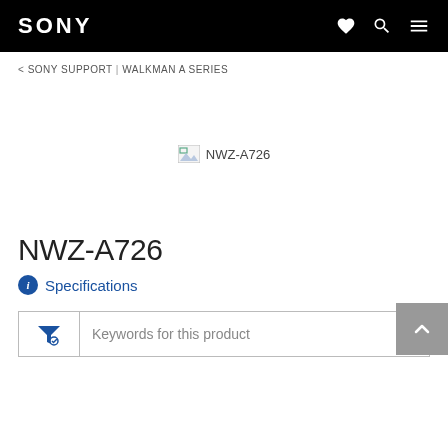SONY
< SONY SUPPORT | WALKMAN A SERIES
[Figure (photo): Broken/missing product image placeholder for NWZ-A726]
NWZ-A726
Specifications
Keywords for this product